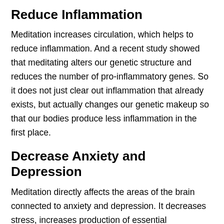Reduce Inflammation
Meditation increases circulation, which helps to reduce inflammation. And a recent study showed that meditating alters our genetic structure and reduces the number of pro-inflammatory genes. So it does not just clear out inflammation that already exists, but actually changes our genetic makeup so that our bodies produce less inflammation in the first place.
Decrease Anxiety and Depression
Meditation directly affects the areas of the brain connected to anxiety and depression. It decreases stress, increases production of essential neurotransmitters, and opens receptor sites to those beneficial neurotransmitters to ensure the brain responds more positively to life experiences. Several clinical